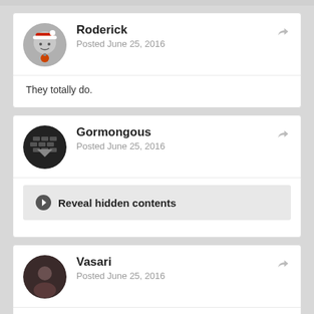Roderick
Posted June 25, 2016
They totally do.
Gormongous
Posted June 25, 2016
Reveal hidden contents
Vasari
Posted June 25, 2016
https://twitter.com/IHarrisonSP/status/746803408657612800
A poll from the Sunday Post puts support for Scottish independence at